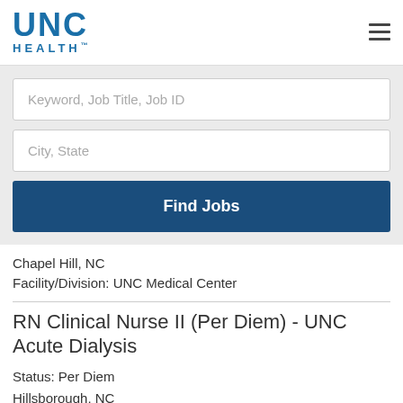[Figure (logo): UNC Health logo in blue]
Keyword, Job Title, Job ID
City, State
Find Jobs
Chapel Hill, NC
Facility/Division: UNC Medical Center
RN Clinical Nurse II (Per Diem) - UNC Acute Dialysis
Status: Per Diem
Hillsborough, NC
Facility/Division: UNC Medical Center